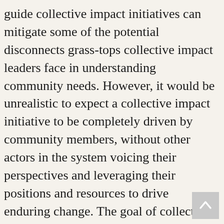guide collective impact initiatives can mitigate some of the potential disconnects grass-tops collective impact leaders face in understanding community needs. However, it would be unrealistic to expect a collective impact initiative to be completely driven by community members, without other actors in the system voicing their perspectives and leveraging their positions and resources to drive enduring change. The goal of collective impact is to have all partners agree to a shared result, but in reality, the partners will sometimes be in conflict. That includes community groups as well.
Despite this challenge, addressing the needs of